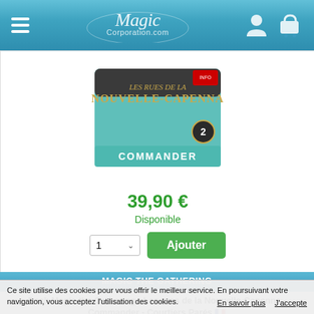Magic Corporation - navigation bar with logo, hamburger menu, user icon, and cart icon
[Figure (photo): Magic: The Gathering - Les rues de la Nouvelle-Capenna Commander deck box (teal/green, numbered 2)]
39,90 €
Disponible
MAGIC THE GATHERING
Deck Magic the Gathering - Les rues de la Nouvelle-Capenna - Commander - Courtiers Parés 🇫🇷
[Figure (photo): Magic: The Gathering - Courtiers Parés Commander deck box, black packaging with character artwork]
Ce site utilise des cookies pour vous offrir le meilleur service. En poursuivant votre navigation, vous acceptez l'utilisation des cookies. En savoir plus J'accepte